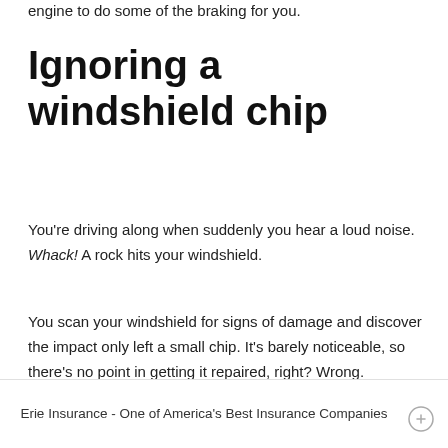engine to do some of the braking for you.
Ignoring a windshield chip
You’re driving along when suddenly you hear a loud noise. Whack! A rock hits your windshield.
You scan your windshield for signs of damage and discover the impact only left a small chip. It’s barely noticeable, so there’s no point in getting it repaired, right? Wrong.
Erie Insurance - One of America’s Best Insurance Companies